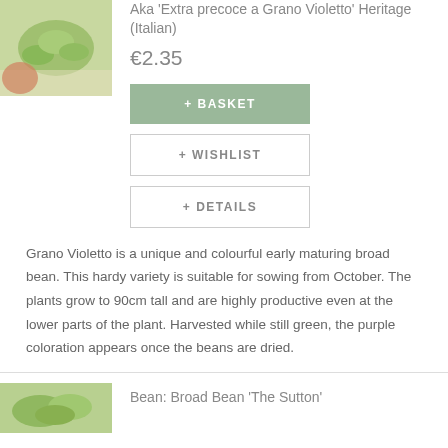[Figure (photo): Photo of broad bean pods held in a hand, green beans visible]
Aka 'Extra precoce a Grano Violetto' Heritage (Italian)
€2.35
+ BASKET
+ WISHLIST
+ DETAILS
Grano Violetto is a unique and colourful early maturing broad bean. This hardy variety is suitable for sowing from October. The plants grow to 90cm tall and are highly productive even at the lower parts of the plant. Harvested while still green, the purple coloration appears once the beans are dried.
[Figure (photo): Photo of broad bean pods, green beans close-up]
Bean: Broad Bean 'The Sutton'